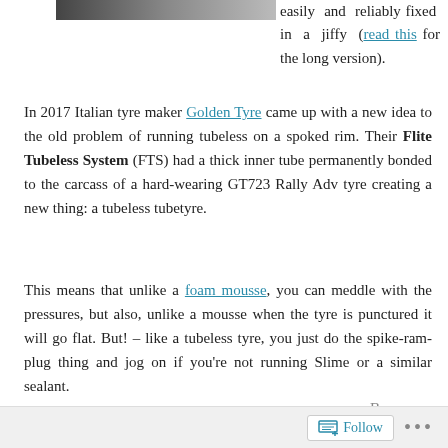[Figure (photo): Partial image at top left, appears to be a dark/black object cropped at page edge]
easily and reliably fixed in a jiffy (read this for the long version).
In 2017 Italian tyre maker Golden Tyre came up with a new idea to the old problem of running tubeless on a spoked rim. Their Flite Tubeless System (FTS) had a thick inner tube permanently bonded to the carcass of a hard-wearing GT723 Rally Adv tyre creating a new thing: a tubeless tubetyre.
This means that unlike a foam mousse, you can meddle with the pressures, but also, unlike a mousse when the tyre is punctured it will go flat. But! – like a tubeless tyre, you just do the spike-ram-plug thing and jog on if you're not running Slime or a similar sealant.
Because
Follow ...